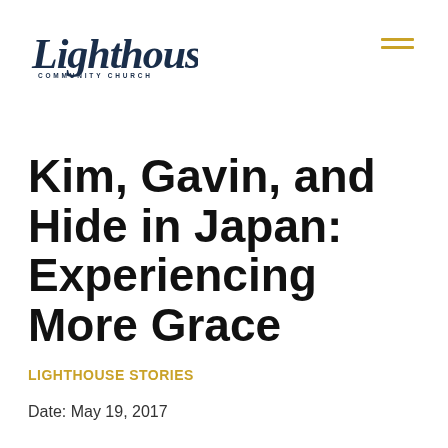Lighthouse Community Church
Kim, Gavin, and Hide in Japan: Experiencing More Grace
LIGHTHOUSE STORIES
Date: May 19, 2017